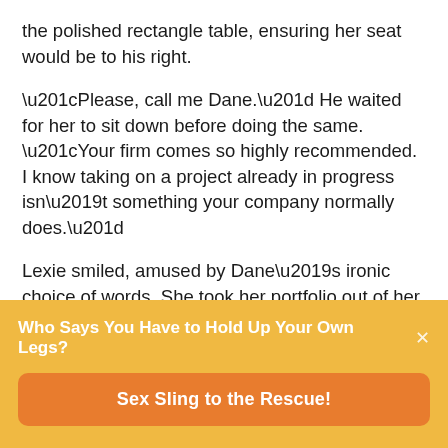the polished rectangle table, ensuring her seat would be to his right.
“Please, call me Dane.” He waited for her to sit down before doing the same. “Your firm comes so highly recommended. I know taking on a project already in progress isn’t something your company normally does.”
Lexie smiled, amused by Dane’s ironic choice of words. She took her portfolio out of her bag she’d placed on the chair beside her. “It’s our pleasure to
Who Says You Have to Hold Up Your Own Legs?
Sex Sling to the Rescue!